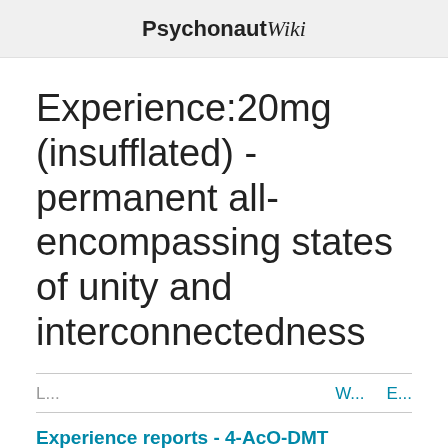Psychonaut Wiki
Experience:20mg (insufflated) - permanent all-encompassing states of unity and interconnectedness
L...   W...   E...
Experience reports - 4-AcO-DMT
∨  Report